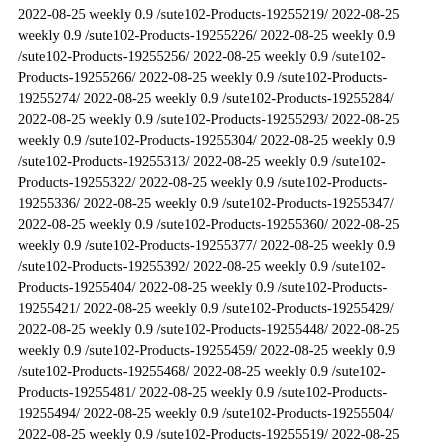2022-08-25 weekly 0.9 /sute102-Products-19255219/ 2022-08-25 weekly 0.9 /sute102-Products-19255226/ 2022-08-25 weekly 0.9 /sute102-Products-19255256/ 2022-08-25 weekly 0.9 /sute102-Products-19255266/ 2022-08-25 weekly 0.9 /sute102-Products-19255274/ 2022-08-25 weekly 0.9 /sute102-Products-19255284/ 2022-08-25 weekly 0.9 /sute102-Products-19255293/ 2022-08-25 weekly 0.9 /sute102-Products-19255304/ 2022-08-25 weekly 0.9 /sute102-Products-19255313/ 2022-08-25 weekly 0.9 /sute102-Products-19255322/ 2022-08-25 weekly 0.9 /sute102-Products-19255336/ 2022-08-25 weekly 0.9 /sute102-Products-19255347/ 2022-08-25 weekly 0.9 /sute102-Products-19255360/ 2022-08-25 weekly 0.9 /sute102-Products-19255377/ 2022-08-25 weekly 0.9 /sute102-Products-19255392/ 2022-08-25 weekly 0.9 /sute102-Products-19255404/ 2022-08-25 weekly 0.9 /sute102-Products-19255421/ 2022-08-25 weekly 0.9 /sute102-Products-19255429/ 2022-08-25 weekly 0.9 /sute102-Products-19255448/ 2022-08-25 weekly 0.9 /sute102-Products-19255459/ 2022-08-25 weekly 0.9 /sute102-Products-19255468/ 2022-08-25 weekly 0.9 /sute102-Products-19255481/ 2022-08-25 weekly 0.9 /sute102-Products-19255494/ 2022-08-25 weekly 0.9 /sute102-Products-19255504/ 2022-08-25 weekly 0.9 /sute102-Products-19255519/ 2022-08-25 weekly 0.9 /sute102-Products-19262547/ 2022-08-25 weekly 0.9 /sute102-Products-19262578/ 2022-08-25 weekly 0.9 /sute102-Products-19262603/ 2022-08-25 weekly 0.9 /sute102-Products-19262664/ 2022-08-25 weekly 0.9 /sute102-Products-19262686/